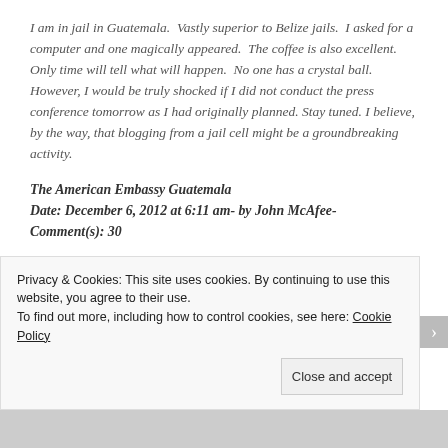I am in jail in Guatemala.  Vastly superior to Belize jails.  I asked for a computer and one magically appeared.  The coffee is also excellent. Only time will tell what will happen.  No one has a crystal ball.  However, I would be truly shocked if I did not conduct the press conference tomorrow as I had originally planned. Stay tuned. I believe, by the way, that blogging from a jail cell might be a groundbreaking activity.
The American Embassy Guatemala
Date: December 6, 2012 at 6:11 am- by John McAfee- Comment(s): 30
I just spoke with the duty officer at the Embassy who said there is nothing that they can do.  I asked to be returned to the States, and again … nothing they can do.  So I will wait and see. P.S.  Anybody
Privacy & Cookies: This site uses cookies. By continuing to use this website, you agree to their use.
To find out more, including how to control cookies, see here: Cookie Policy